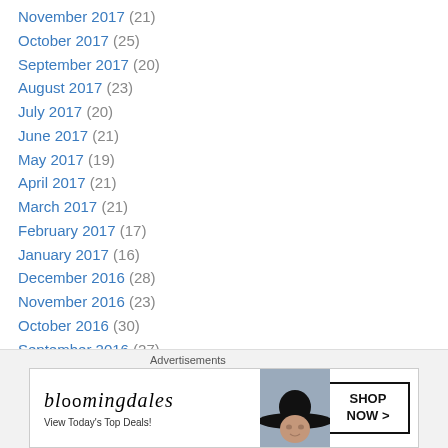November 2017 (21)
October 2017 (25)
September 2017 (20)
August 2017 (23)
July 2017 (20)
June 2017 (21)
May 2017 (19)
April 2017 (21)
March 2017 (21)
February 2017 (17)
January 2017 (16)
December 2016 (28)
November 2016 (23)
October 2016 (30)
September 2016 (27)
August 2016 (27)
[Figure (advertisement): Bloomingdales advertisement showing a woman with a large dark hat. Text: bloomingdales, View Today's Top Deals!, SHOP NOW >]